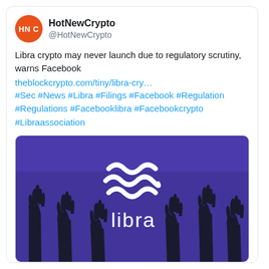HotNewCrypto @HotNewCrypto
Libra crypto may never launch due to regulatory scrutiny, warns Facebook
theblockcrypto.com/tiny/libra-cry…
#Sec #News #Libra #Filings #Facebook #Regulation #Regulations #Facebooklibra #Facebookcrypto #Libraassociation
[Figure (illustration): Purple background image showing silhouettes of raised hands with the Libra cryptocurrency logo (three wavy lines) and the word 'libra' in white text]
Libra crypto may never launch due to regulatory